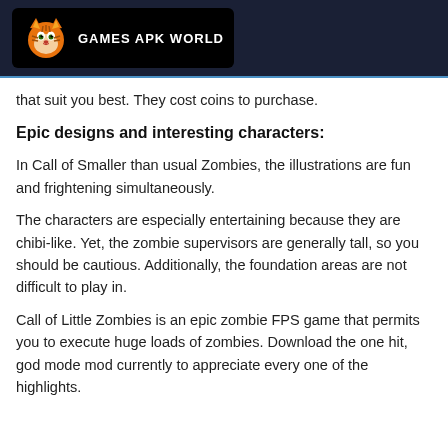GAMES APK WORLD
that suit you best. They cost coins to purchase.
Epic designs and interesting characters:
In Call of Smaller than usual Zombies, the illustrations are fun and frightening simultaneously.
The characters are especially entertaining because they are chibi-like. Yet, the zombie supervisors are generally tall, so you should be cautious. Additionally, the foundation areas are not difficult to play in.
Call of Little Zombies is an epic zombie FPS game that permits you to execute huge loads of zombies. Download the one hit, god mode mod currently to appreciate every one of the highlights.